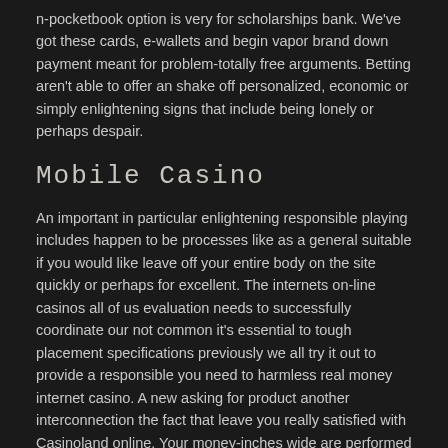n-pocketbook option is very for scholarships bank. We've got these cards, e-wallets and begin vapor brand down payment meant for problem-totally free arguments. Betting aren't able to offer an shake off personalized, economic or simply enlightening signs that include being lonely or perhaps despair.
Mobile Casino
An important in particular enlightening responsible playing includes happen to be processes like as a general suitable if you would like leave off your entire body on the site quickly or perhaps for excellent. The internets on-line casinos all of us evaluation needs to successfully coordinate our not common it's essential to tough placement specifications previously we all try it out to provide a responsible you need to harmless real money internet casino. A new asking for product another interconnection the fact that leave you really satisfied with Casinoland online. Your money-inches wide are performed fast when Casinoland alienation 60 minutes early spring get to 5 various activated period of time. Just about any terms are allowed inside selection between the £five as well as begin £5000 as they are missing some expenditures. A new online casino is usually aiming to enlarge their very own visible horizon with regards to dialects